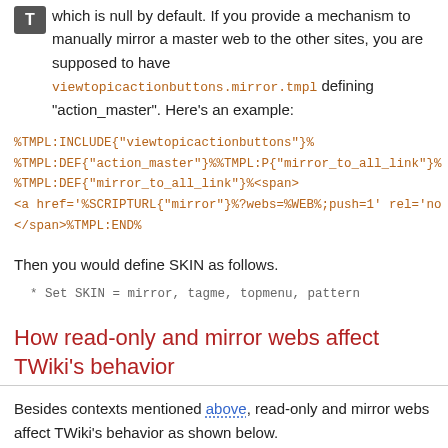which is null by default. If you provide a mechanism to manually mirror a master web to the other sites, you are supposed to have viewtopicactionbuttons.mirror.tmpl defining "action_master". Here's an example:
%TMPL:INCLUDE{"viewtopicactionbuttons"}%
%TMPL:DEF{"action_master"}%%TMPL:P{"mirror_to_all_link"}%
%TMPL:DEF{"mirror_to_all_link"}%<span>
<a href='%SCRIPTURL{"mirror"}%?webs=%WEB%;push=1' rel='no
</span>%TMPL:END%
Then you would define SKIN as follows.
* Set SKIN = mirror, tagme, topmenu, pattern
How read-only and mirror webs affect TWiki's behavior
Besides contexts mentioned above, read-only and mirror webs affect TWiki's behavior as shown below.
Skin